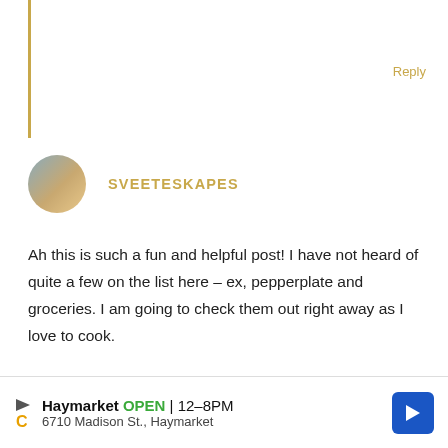Reply
[Figure (photo): Small circular avatar photo of a person outdoors]
SVEETESKAPES
Ah this is such a fun and helpful post! I have not heard of quite a few on the list here – ex, pepperplate and groceries. I am going to check them out right away as I love to cook.
xx, Kusum
Reply
[Figure (photo): Small circular avatar photo of a woman]
STEPHANIE LYNCH
[Figure (screenshot): Advertisement banner: Haymarket OPEN 12-8PM, 6710 Madison St., Haymarket with navigation arrow icon]